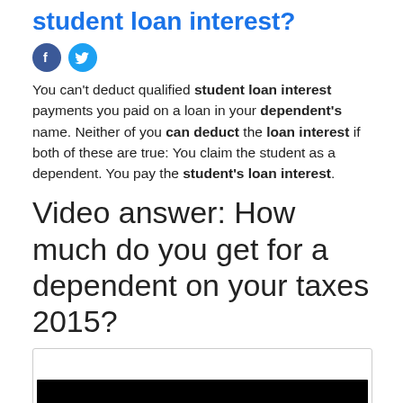student loan interest?
[Figure (other): Social media sharing icons: Facebook (blue circle with 'f') and Twitter (blue circle with bird icon)]
You can't deduct qualified student loan interest payments you paid on a loan in your dependent's name. Neither of you can deduct the loan interest if both of these are true: You claim the student as a dependent. You pay the student's loan interest.
Video answer: How much do you get for a dependent on your taxes 2015?
[Figure (screenshot): Video player box with black bar at the bottom representing a video thumbnail/player]